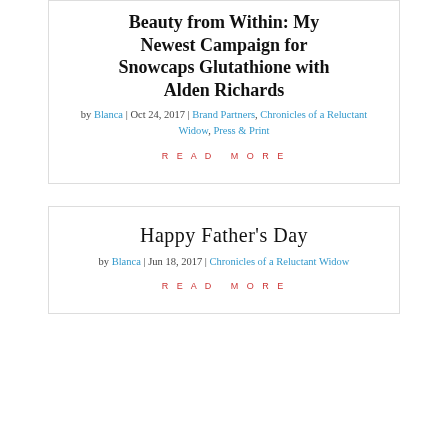Beauty from Within: My Newest Campaign for Snowcaps Glutathione with Alden Richards
by Blanca | Oct 24, 2017 | Brand Partners, Chronicles of a Reluctant Widow, Press & Print
READ MORE
Happy Father's Day
by Blanca | Jun 18, 2017 | Chronicles of a Reluctant Widow
READ MORE